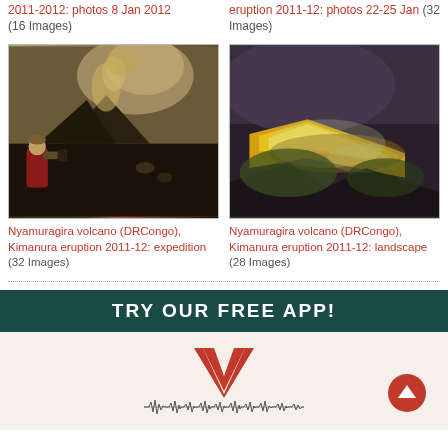2011-2012: photos 8 Jan 2012 (16 Images)
eruption 2011-12: photos 22-25 Jan (32 Images)
[Figure (photo): Person in red jacket photographing Nyamuragira volcano with smoke plume rising from dark volcanic landscape]
[Figure (photo): Aerial view of Nyamuragira volcano landscape showing glowing yellow-green lava flow against dark terrain]
Nyamuragira volcano (DRCongo), Kimanura eruption 2011-12: expedition (32 Images)
Nyamuragira volcano (DRCongo), Kimanura eruption 2011-12: landscape (28 Images)
TRY OUR FREE APP!
[Figure (logo): App logo with red V shape, sound wave graphic underneath, on light background. Red circular back-to-top button in bottom right.]